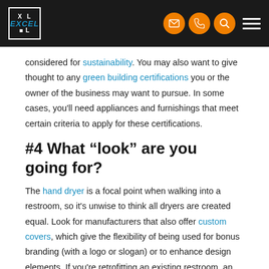Excel Dryer header with logo and navigation icons
considered for sustainability. You may also want to give thought to any green building certifications you or the owner of the business may want to pursue. In some cases, you'll need appliances and furnishings that meet certain criteria to apply for these certifications.
#4 What “look” are you going for?
The hand dryer is a focal point when walking into a restroom, so it's unwise to think all dryers are created equal. Look for manufacturers that also offer custom covers, which give the flexibility of being used for bonus branding (with a logo or slogan) or to enhance design elements. If you're retrofitting an existing restroom, an